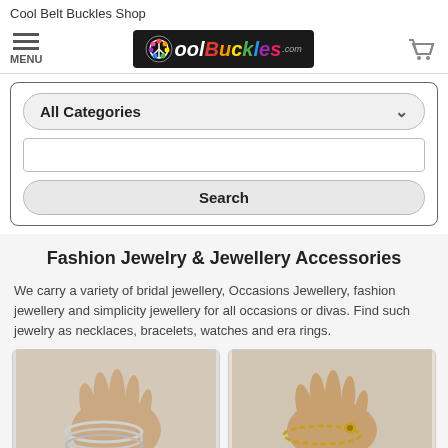Cool Belt Buckles Shop
[Figure (logo): CoolBuckles.com logo on black background with colorful text and peace/flower icon, with hamburger menu icon and shopping cart icon]
[Figure (screenshot): Search widget with All Categories dropdown, text input field, and Search button]
Fashion Jewelry & Jewellery Accessories
We carry a variety of bridal jewellery, Occasions Jewellery, fashion jewellery and simplicity jewellery for all occasions or divas. Find such jewelry as necklaces, bracelets, watches and era rings.
[Figure (photo): Hand wearing silver bangle bracelets]
[Figure (photo): Hand wearing gold chain bracelet with charms]